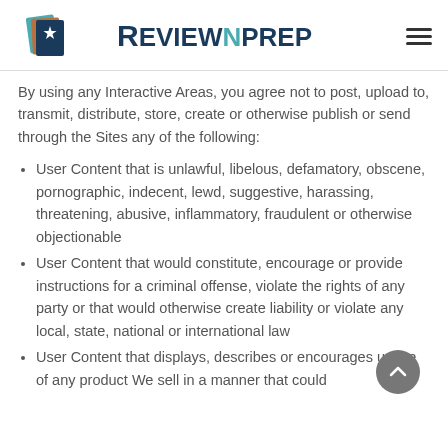ReviewNPrep
By using any Interactive Areas, you agree not to post, upload to, transmit, distribute, store, create or otherwise publish or send through the Sites any of the following:
User Content that is unlawful, libelous, defamatory, obscene, pornographic, indecent, lewd, suggestive, harassing, threatening, abusive, inflammatory, fraudulent or otherwise objectionable
User Content that would constitute, encourage or provide instructions for a criminal offense, violate the rights of any party or that would otherwise create liability or violate any local, state, national or international law
User Content that displays, describes or encourages usage of any product We sell in a manner that could